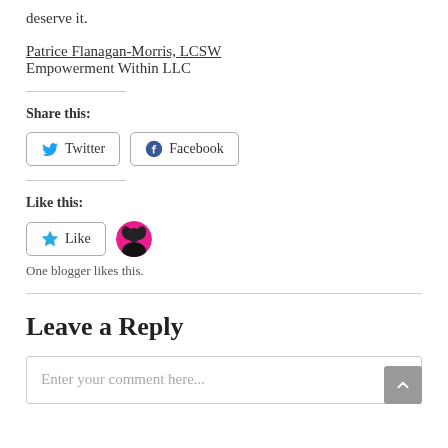deserve it.
Patrice Flanagan-Morris, LCSW
Empowerment Within LLC
Share this:
[Figure (other): Twitter and Facebook share buttons]
Like this:
[Figure (other): Like button with star icon and a blogger avatar circle]
One blogger likes this.
Leave a Reply
Enter your comment here...